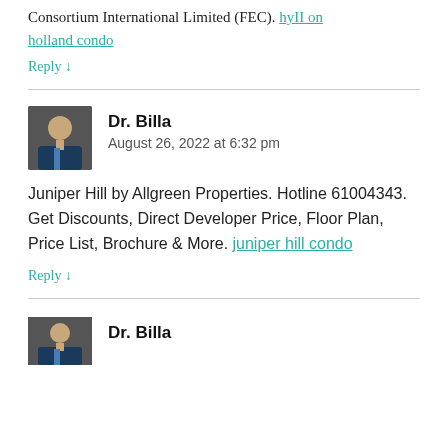Consortium International Limited (FEC). hyII on holland condo
Reply ↓
Dr. Billa
August 26, 2022 at 6:32 pm
Juniper Hill by Allgreen Properties. Hotline 61004343. Get Discounts, Direct Developer Price, Floor Plan, Price List, Brochure & More. juniper hill condo
Reply ↓
Dr. Billa